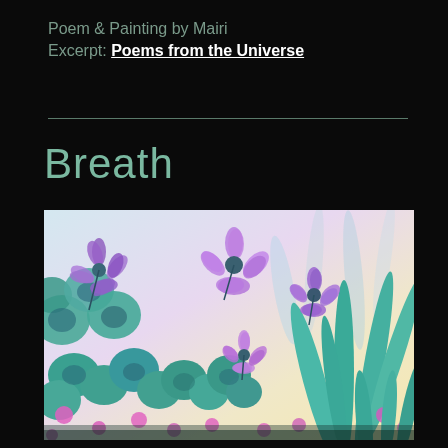Poem & Painting by Mairi
Excerpt: Poems from the Universe
Breath
[Figure (illustration): Watercolor painting of purple and teal flowers and foliage against a light lavender and pale background, viewed from below looking up through the blooms.]